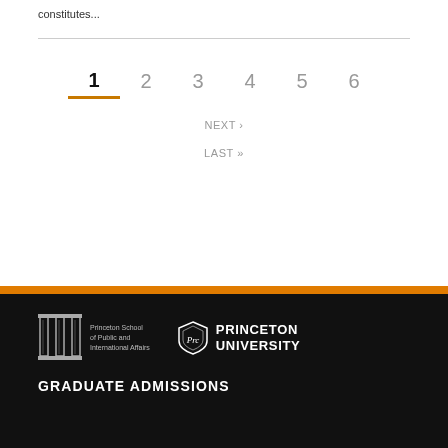constitutes...
1 2 3 4 5 6
NEXT ›
LAST »
GRADUATE ADMISSIONS
Princeton School of Public and International Affairs | Princeton University